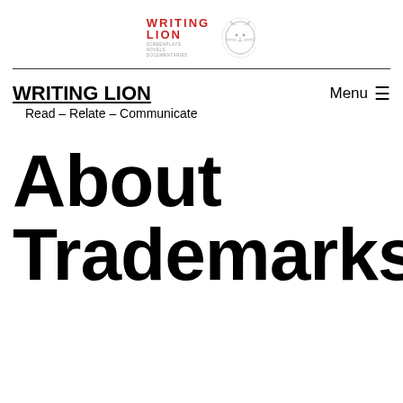[Figure (logo): Writing Lion logo with red text 'WRITING LION', subtitle text 'SCREENPLAYS NOVELS DOCUMENTARIES', and a sketched lion illustration]
WRITING LION | Menu ☰
Read – Relate – Communicate
About Trademarks